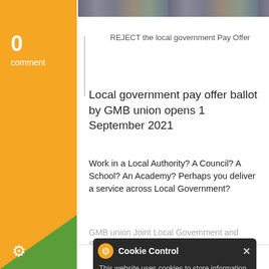[Figure (photo): Strip of people photographs at top of page]
0
comment
REJECT the local government Pay Offer
Local government pay offer ballot by GMB union opens 1 September 2021
Work in a Local Authority? A Council? A School? An Academy? Perhaps you deliver a service across Local Government?
GMB union Joint Local Government and Schools Committee representatives have discussed the pay offer and are recommending you vote to REJECT
the trade union. Ballot on pay will open on the 1st September 2021!
Cookie Control
This website uses cookies to store information on your computer. Using this website means you consent to cookies.
read more    About this tool
Read more